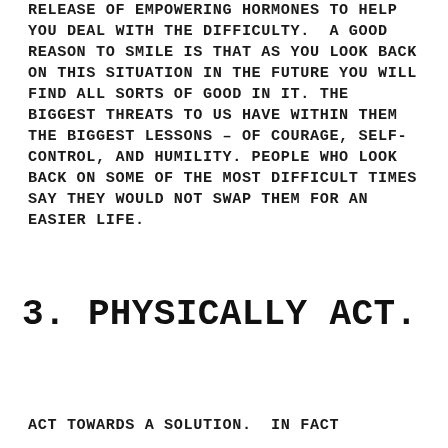RELEASE OF EMPOWERING HORMONES TO HELP YOU DEAL WITH THE DIFFICULTY.  A GOOD REASON TO SMILE IS THAT AS YOU LOOK BACK ON THIS SITUATION IN THE FUTURE YOU WILL FIND ALL SORTS OF GOOD IN IT. THE BIGGEST THREATS TO US HAVE WITHIN THEM THE BIGGEST LESSONS – OF COURAGE, SELF-CONTROL, AND HUMILITY. PEOPLE WHO LOOK BACK ON SOME OF THE MOST DIFFICULT TIMES SAY THEY WOULD NOT SWAP THEM FOR AN EASIER LIFE.
3. PHYSICALLY ACT.
ACT TOWARDS A SOLUTION.  IN FACT